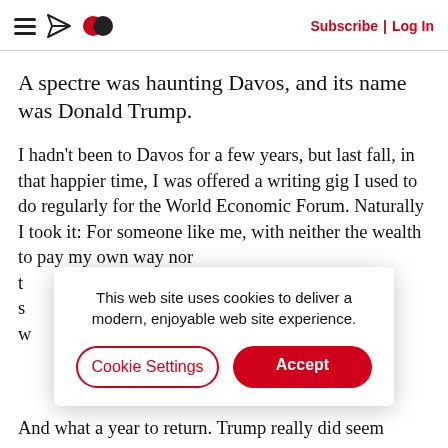Subscribe | Log In
A spectre was haunting Davos, and its name was Donald Trump.
I hadn't been to Davos for a few years, but last fall, in that happier time, I was offered a writing gig I used to do regularly for the World Economic Forum. Naturally I took it: For someone like me, with neither the wealth to pay my own way nor t[he] s[phere] w[ith]
This web site uses cookies to deliver a modern, enjoyable web site experience.
Cookie Settings
Accept
And what a year to return. Trump really did seem